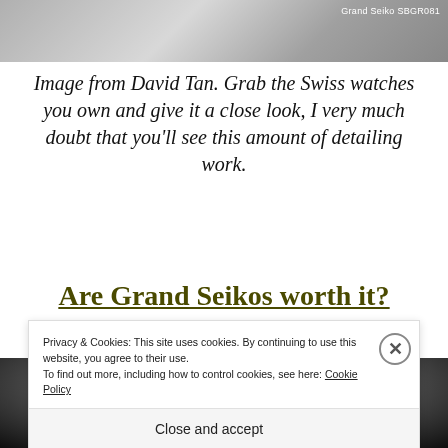[Figure (photo): Close-up photo of a Grand Seiko watch with polished metallic surfaces, label 'Grand Seiko SBGR081' in top right corner]
Image from David Tan. Grab the Swiss watches you own and give it a close look, I very much doubt that you’ll see this amount of detailing work.
Are Grand Seikos worth it?
[Figure (photo): Photo of a Grand Seiko watch on a dark/black background with a cookie consent banner overlaid]
Privacy & Cookies: This site uses cookies. By continuing to use this website, you agree to their use.
To find out more, including how to control cookies, see here: Cookie Policy
Close and accept